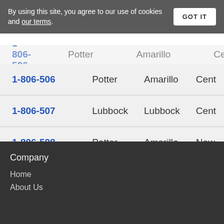By using this site, you agree to our use of cookies and our terms.
| ZIP | County | City | Type |
| --- | --- | --- | --- |
| 1-806-506 | Potter | Amarillo | Cent |
| 1-806-507 | Lubbock | Lubbock | Cent |
| 1-806-508 | Potter | Amarillo | New |
1 2 3 >
Company
Home
About Us